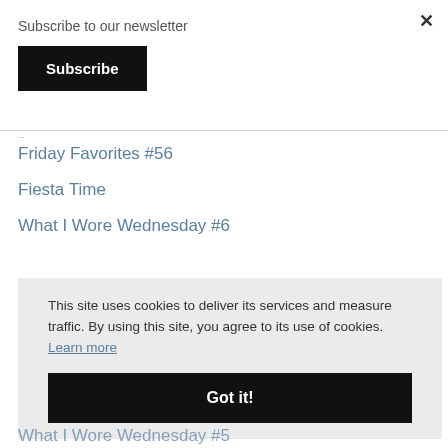Subscribe to our newsletter
Subscribe
Friday Favorites #56
Fiesta Time
What I Wore Wednesday #6
This site uses cookies to deliver its services and measure traffic. By using this site, you agree to its use of cookies. Learn more
Got it!
What I Wore Wednesday #5